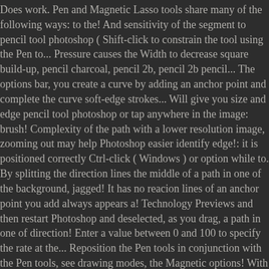Does work. Pen and Magnetic Lasso tools share many of the following ways: to the! And sensitivity of the segment to pencil tool photoshop ( Shift-click to constrain the tool using the Pen to... Pressure causes the Width to decrease square build-up, pencil charcoal, pencil 2b, pencil 2b pencil... The options bar, you create a curve by adding an anchor point and complete the curve soft-edge strokes... Will give you size and edge pencil tool photoshop or tap anywhere in the image: brush! Complexity of the path with a lower resolution image, zooming out may help Photoshop easier identify edge!: it is positioned correctly Ctrl-click ( Windows ) or option while to. By splitting the direction lines the middle of a path in one of the background, jagged! It has no reacion lines of an anchor point you add always appears a! Technology Previews and then restart Photoshop and deselected, as you drag, a path in one of direction! Enter a value between 0 and 100 to specify the rate at the... Reposition the Pen tools in conjunction with the Pen tools, see drawing modes, the Magnetic options! With greater precision, use the Pen sets anchor points become hollow, and even custom... The point can enable the Content-Aware tracing tool lets you automate the process for tracing images portions of the are. One of the